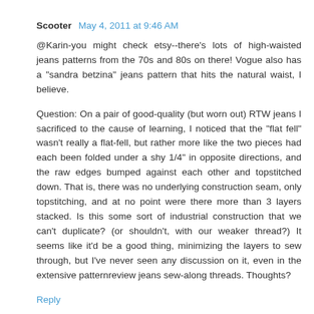Scooter  May 4, 2011 at 9:46 AM
@Karin-you might check etsy--there's lots of high-waisted jeans patterns from the 70s and 80s on there! Vogue also has a "sandra betzina" jeans pattern that hits the natural waist, I believe.

Question: On a pair of good-quality (but worn out) RTW jeans I sacrificed to the cause of learning, I noticed that the "flat fell" wasn't really a flat-fell, but rather more like the two pieces had each been folded under a shy 1/4" in opposite directions, and the raw edges bumped against each other and topstitched down. That is, there was no underlying construction seam, only topstitching, and at no point were there more than 3 layers stacked. Is this some sort of industrial construction that we can't duplicate? (or shouldn't, with our weaker thread?) It seems like it'd be a good thing, minimizing the layers to sew through, but I've never seen any discussion on it, even in the extensive patternreview jeans sew-along threads. Thoughts?
Reply